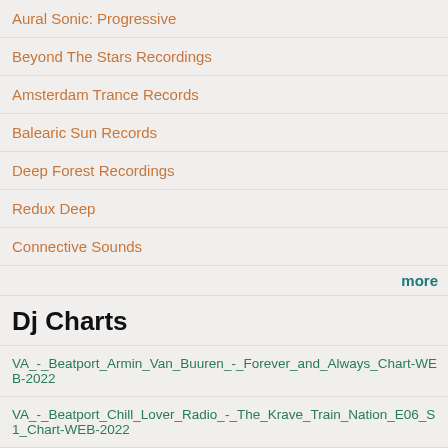Aural Sonic: Progressive
Beyond The Stars Recordings
Amsterdam Trance Records
Balearic Sun Records
Deep Forest Recordings
Redux Deep
Connective Sounds
more
Dj Charts
VA_-_Beatport_Armin_Van_Buuren_-_Forever_and_Always_Chart-WEB-2022
VA_-_Beatport_Chill_Lover_Radio_-_The_Krave_Train_Nation_E06_S1_Chart-WEB-2022
VA - Beatport_Egorythmia - After Us Before Us Chart-WEB-202